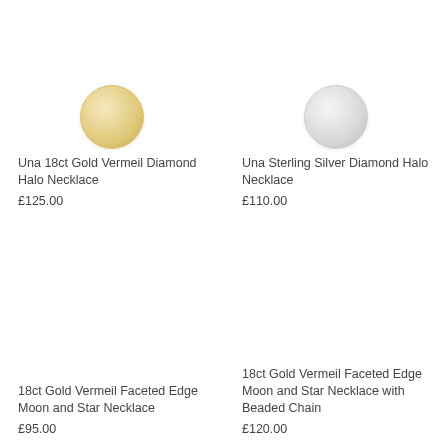[Figure (photo): Una 18ct Gold Vermeil Diamond Halo Necklace product image - gold circle pendant]
Una 18ct Gold Vermeil Diamond Halo Necklace
£125.00
[Figure (photo): Una Sterling Silver Diamond Halo Necklace product image - silver circle pendant]
Una Sterling Silver Diamond Halo Necklace
£110.00
[Figure (photo): 18ct Gold Vermeil Faceted Edge Moon and Star Necklace product image - blank/white space]
18ct Gold Vermeil Faceted Edge Moon and Star Necklace
£95.00
[Figure (photo): 18ct Gold Vermeil Faceted Edge Moon and Star Necklace with Beaded Chain product image - blank/white space]
18ct Gold Vermeil Faceted Edge Moon and Star Necklace with Beaded Chain
£120.00